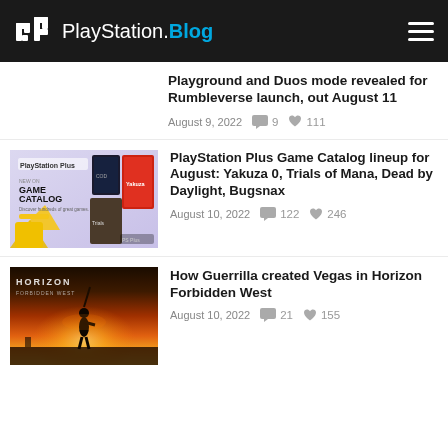PlayStation.Blog
Playground and Duos mode revealed for Rumbleverse launch, out August 11
August 9, 2022  9  111
[Figure (screenshot): PlayStation Plus Game Catalog promotional image showing Yakuza 0 and other game covers on a light purple/grey background with yellow geometric shapes]
PlayStation Plus Game Catalog lineup for August: Yakuza 0, Trials of Mana, Dead by Daylight, Bugsnax
August 10, 2022  122  246
[Figure (photo): Horizon Forbidden West screenshot showing a warrior silhouette against a dramatic orange sunset sky]
How Guerrilla created Vegas in Horizon Forbidden West
August 10, 2022  21  155